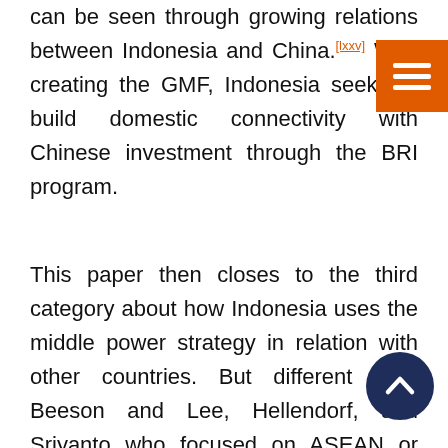can be seen through growing relations between Indonesia and China.[lxxv] With creating the GMF, Indonesia seeks to build domestic connectivity with Chinese investment through the BRI program.
This paper then closes to the third category about how Indonesia uses the middle power strategy in relation with other countries. But different from Beeson and Lee, Hellendorf, and Sriyanto who focused on ASEAN or China–including the BRI–this paper brings the BRI and FOIP together. Not merely Indonesia's strategy in broad, this paper is more focused on the GMF as a middle power strategy of Indonesia in relations with BRI and FOIP. Furthermore, we combine three middle power